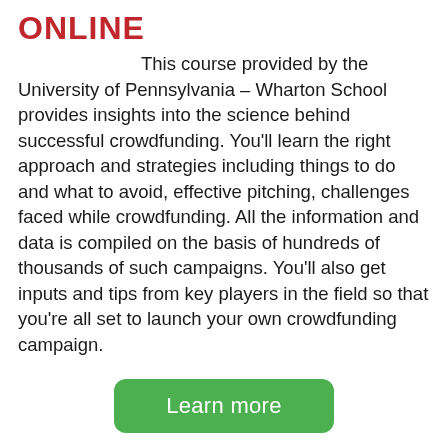ONLINE
This course provided by the University of Pennsylvania – Wharton School provides insights into the science behind successful crowdfunding. You'll learn the right approach and strategies including things to do and what to avoid, effective pitching, challenges faced while crowdfunding. All the information and data is compiled on the basis of hundreds of thousands of such campaigns. You'll also get inputs and tips from key players in the field so that you're all set to launch your own crowdfunding campaign.
Learn more